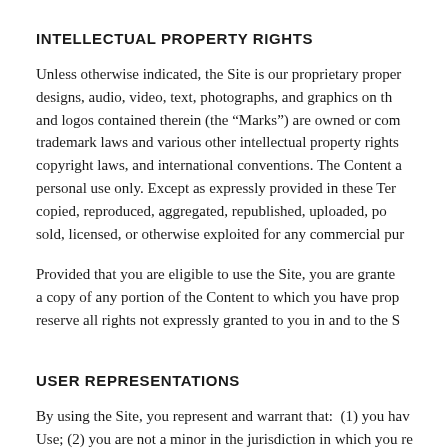INTELLECTUAL PROPERTY RIGHTS
Unless otherwise indicated, the Site is our proprietary property and all designs, audio, video, text, photographs, and graphics on the Site and logos contained therein (the “Marks”) are owned or controlled by trademark laws and various other intellectual property rights and copyright laws, and international conventions. The Content and personal use only. Except as expressly provided in these Terms, copied, reproduced, aggregated, republished, uploaded, posted, sold, licensed, or otherwise exploited for any commercial purpose.
Provided that you are eligible to use the Site, you are granted a copy of any portion of the Content to which you have properly reserve all rights not expressly granted to you in and to the Site.
USER REPRESENTATIONS
By using the Site, you represent and warrant that: (1) you have agreed to these Terms of Use; (2) you are not a minor in the jurisdiction in which you reside; (3) you will not access the Site through automated means, whether through a bot, script, or otherwise; (4) you will not use the Site for any illegal or unauthorized purpose; (5) your use of the Site will not violate any applicable law or regulation.
If you provide any information that is untrue, inaccurate, not current, or incomplete, we have the right to suspend or terminate your account and refuse any and all current or future use of the Site.